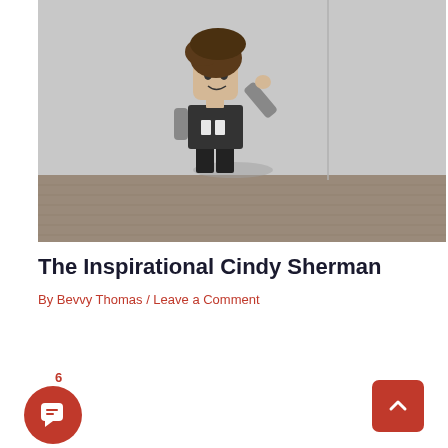[Figure (photo): Black and white photo of a LEGO minifigure with brown hair, dressed in dark clothing, posed against a white wall on a wooden floor, arm raised.]
The Inspirational Cindy Sherman
By Bevvy Thomas / Leave a Comment